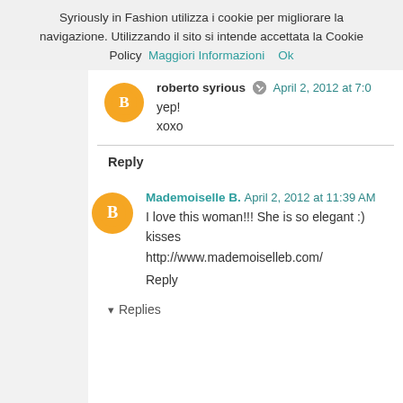Syriously in Fashion utilizza i cookie per migliorare la navigazione. Utilizzando il sito si intende accettata la Cookie Policy  Maggiori Informazioni    Ok
roberto syrious  April 2, 2012 at 7:0
yep!
xoxo
Reply
Mademoiselle B.  April 2, 2012 at 11:39 AM
I love this woman!!! She is so elegant :)
kisses
http://www.mademoiselleb.com/
Reply
Replies